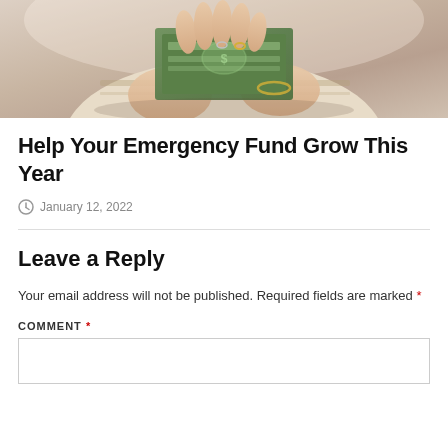[Figure (photo): Person holding US dollar bills up to their face, wearing rings and a bracelet, dressed in light-colored clothing]
Help Your Emergency Fund Grow This Year
January 12, 2022
Leave a Reply
Your email address will not be published. Required fields are marked *
COMMENT *